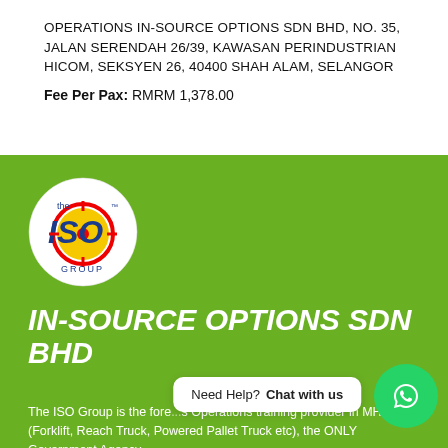OPERATIONS IN-SOURCE OPTIONS SDN BHD, NO. 35, JALAN SERENDAH 26/39, KAWASAN PERINDUSTRIAN HICOM, SEKSYEN 26, 40400 SHAH ALAM, SELANGOR
Fee Per Pax: RMRM 1,378.00
[Figure (logo): ISO Group logo — white circle with blue ISO text and yellow/red target crosshair graphic, 'the ISO GROUP' text]
IN-SOURCE OPTIONS SDN BHD
The ISO Group is the fore... Operations training provider in MHE (Forklift, Reach Truck, Powered Pallet Truck etc), the ONLY Government Agency